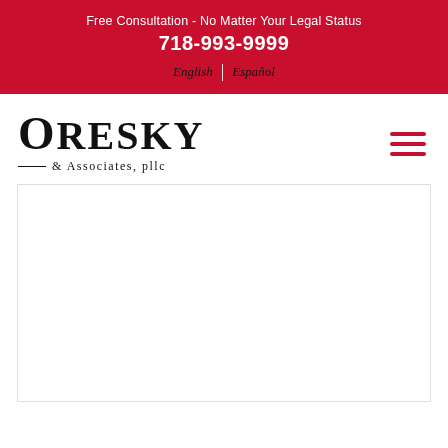Free Consultation - No Matter Your Legal Status
718-993-9999
English | Español
[Figure (logo): Oresky & Associates, pllc law firm logo with large serif text]
[Figure (other): Hamburger menu icon with three red horizontal bars]
[Figure (other): Large white content area box below the navigation bar]